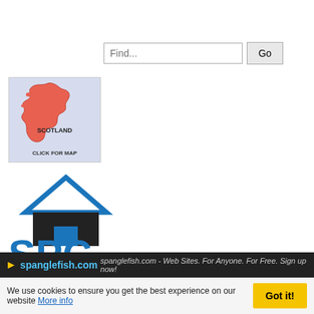[Figure (other): Search input field with placeholder 'Find...' and a 'Go' button]
[Figure (map): Map of Scotland shown in red/pink on a light blue background with text 'SCOTLAND' and 'CLICK FOR MAP']
[Figure (logo): SPC Scotland logo: stylized house icon in blue and dark/black with saltire cross roof, and text 'SPC SCOTLAND' in blue]
spanglefish.com - Web Sites. For Anyone. For Free. Sign up now! We use cookies to ensure you get the best experience on our website More info Got it!